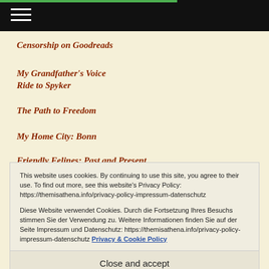Navigation bar with hamburger menu icon
Censorship on Goodreads
My Grandfather's Voice
Ride to Spyker
The Path to Freedom
My Home City: Bonn
Friendly Felines: Past and Present
This website uses cookies. By continuing to use this site, you agree to their use. To find out more, see this website's Privacy Policy: https://themisathena.info/privacy-policy-impressum-datenschutz

Diese Website verwendet Cookies. Durch die Fortsetzung Ihres Besuchs stimmen Sie der Verwendung zu. Weitere Informationen finden Sie auf der Seite Impressum und Datenschutz: https://themisathena.info/privacy-policy-impressum-datenschutz Privacy & Cookie Policy
J.R.R. Tolkien: The Lord of the Rings –